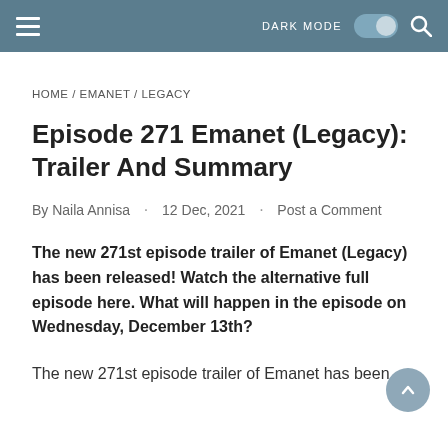DARK MODE [toggle] [search]
HOME / EMANET / LEGACY
Episode 271 Emanet (Legacy): Trailer And Summary
By Naila Annisa · 12 Dec, 2021 · Post a Comment
The new 271st episode trailer of Emanet (Legacy) has been released! Watch the alternative full episode here. What will happen in the episode on Wednesday, December 13th?
The new 271st episode trailer of Emanet has been